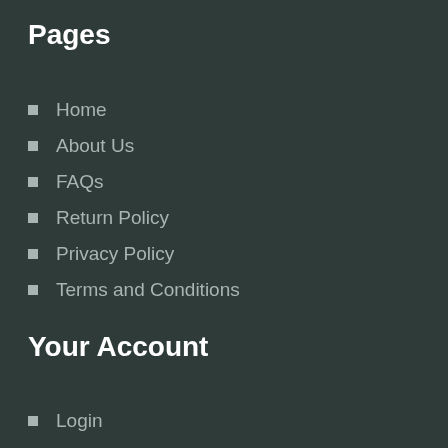Pages
Home
About Us
FAQs
Return Policy
Privacy Policy
Terms and Conditions
Your Account
Login
Register
My Account
Shopping Cart